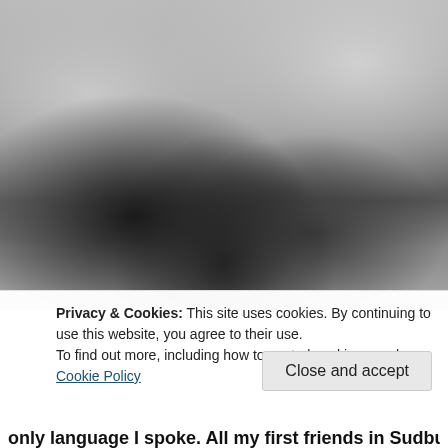[Figure (photo): Black and white photograph of a group of children and a young woman on a wooden porch/railing of a house. There is a large slide or ramp in the foreground. A second building is visible on the right side.]
Privacy & Cookies: This site uses cookies. By continuing to use this website, you agree to their use.
To find out more, including how to control cookies, see here:
Cookie Policy
Close and accept
only language I spoke. All my first friends in Sudbury,